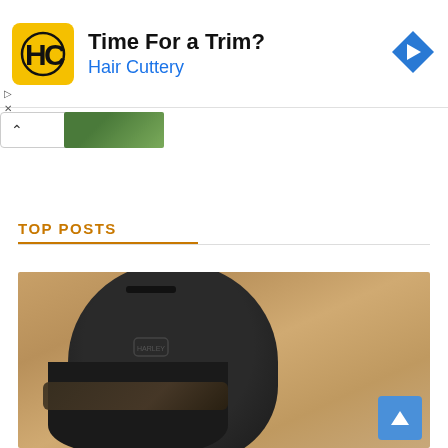[Figure (screenshot): Advertisement banner for Hair Cuttery with yellow HC logo, title 'Time For a Trim?', subtitle 'Hair Cuttery' in blue, and a blue diamond navigation icon on the right.]
[Figure (screenshot): Collapsed thumbnail bar with up chevron and partial image strip showing green/nature content.]
TOP POSTS
[Figure (photo): Close-up photo of a person wearing a black Harley-Davidson motorcycle helmet with visor/goggles, against a blurred sandy/brown background.]